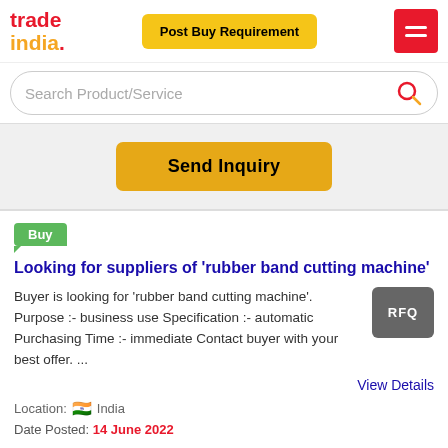[Figure (logo): TradeIndia logo with 'trade' in red and 'india.' in yellow/red]
[Figure (screenshot): Post Buy Requirement yellow button]
[Figure (screenshot): Red hamburger menu button]
Search Product/Service
[Figure (screenshot): Send Inquiry yellow button]
Buy
Looking for suppliers of 'rubber band cutting machine'
Buyer is looking for 'rubber band cutting machine'. Purpose :- business use Specification :- automatic Purchasing Time :- immediate Contact buyer with your best offer. ...
View Details
Location:  India
Date Posted: 14 June 2022